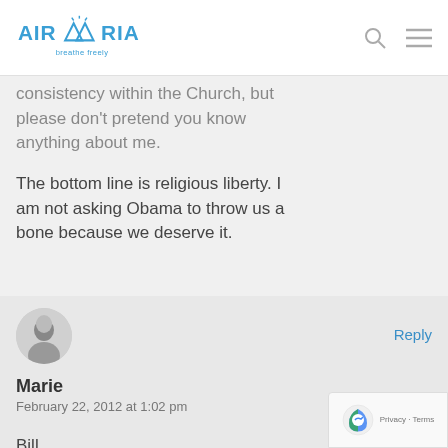AIRMARIA
consistency within the Church, but please don't pretend you know anything about me.
The bottom line is religious liberty. I am not asking Obama to throw us a bone because we deserve it.
[Figure (photo): Circular avatar of commenter Marie showing a black and white image]
Reply
Marie
February 22, 2012 at 1:02 pm
Bill,